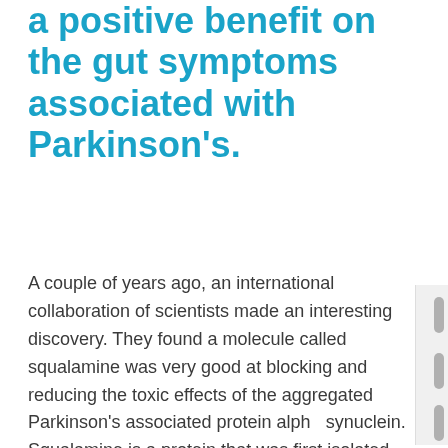a positive benefit on the gut symptoms associated with Parkinson's.
A couple of years ago, an international collaboration of scientists made an interesting discovery. They found a molecule called squalamine was very good at blocking and reducing the toxic effects of the aggregated Parkinson's associated protein alpha synuclein. Squalamine is a protein that was first isolated from the tissues of several species of dogfish shark, and is a key component of their remarkable immune systems. The robust potency of squalamine led researchers to explore the molecule's potential...